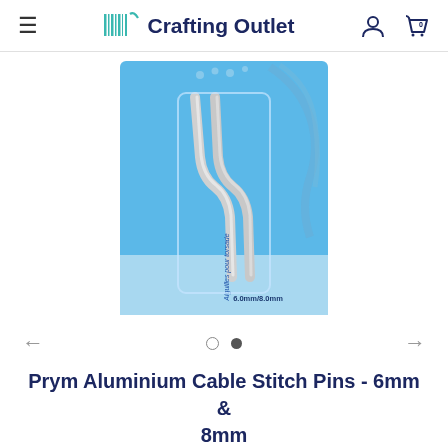Crafting Outlet
[Figure (photo): Product photo of Prym Aluminium Cable Stitch Pins in blue packaging showing two bent aluminium pins, labeled 6.0mm/8.0mm]
← ○ • →
Prym Aluminium Cable Stitch Pins - 6mm & 8mm